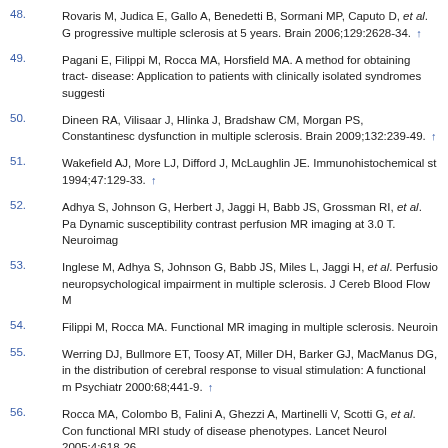48. Rovaris M, Judica E, Gallo A, Benedetti B, Sormani MP, Caputo D, et al. G progressive multiple sclerosis at 5 years. Brain 2006;129:2628-34. ↑
49. Pagani E, Filippi M, Rocca MA, Horsfield MA. A method for obtaining tract- disease: Application to patients with clinically isolated syndromes suggesti
50. Dineen RA, Vilisaar J, Hlinka J, Bradshaw CM, Morgan PS, Constantinesc dysfunction in multiple sclerosis. Brain 2009;132:239-49. ↑
51. Wakefield AJ, More LJ, Difford J, McLaughlin JE. Immunohistochemical st 1994;47:129-33. ↑
52. Adhya S, Johnson G, Herbert J, Jaggi H, Babb JS, Grossman RI, et al. Pa Dynamic susceptibility contrast perfusion MR imaging at 3.0 T. Neuroimag
53. Inglese M, Adhya S, Johnson G, Babb JS, Miles L, Jaggi H, et al. Perfusio neuropsychological impairment in multiple sclerosis. J Cereb Blood Flow M
54. Filippi M, Rocca MA. Functional MR imaging in multiple sclerosis. Neuroin
55. Werring DJ, Bullmore ET, Toosy AT, Miller DH, Barker GJ, MacManus DG, in the distribution of cerebral response to visual stimulation: A functional m Psychiatr 2000:68;441-9. ↑
56. Rocca MA, Colombo B, Falini A, Ghezzi A, Martinelli V, Scotti G, et al. Con functional MRI study of disease phenotypes. Lancet Neurol 2005;4:618-26